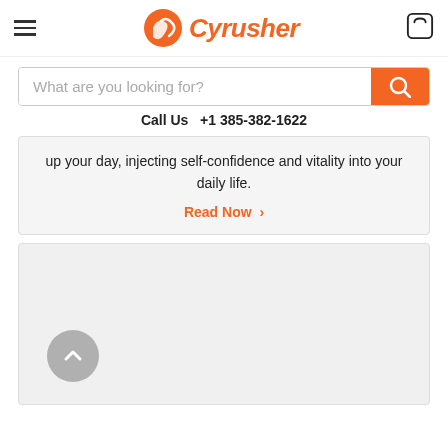Cyrusher — Call Us +1 385-382-1622
up your day, injecting self-confidence and vitality into your daily life.
Read Now >
[Figure (other): Gray content card placeholder block with back-to-top button]